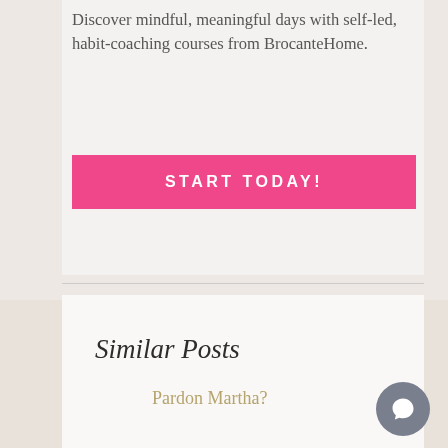Discover mindful, meaningful days with self-led, habit-coaching courses from BrocanteHome.
[Figure (other): Pink call-to-action button with text START TODAY!]
Similar Posts
Pardon Martha?